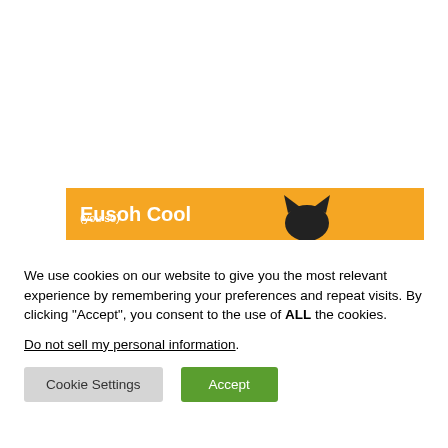[Figure (screenshot): White background area representing a partially visible webpage, with an orange banner showing 'Eusoh Cool' text and a cat silhouette graphic.]
We use cookies on our website to give you the most relevant experience by remembering your preferences and repeat visits. By clicking “Accept”, you consent to the use of ALL the cookies.
Do not sell my personal information.
Cookie Settings
Accept